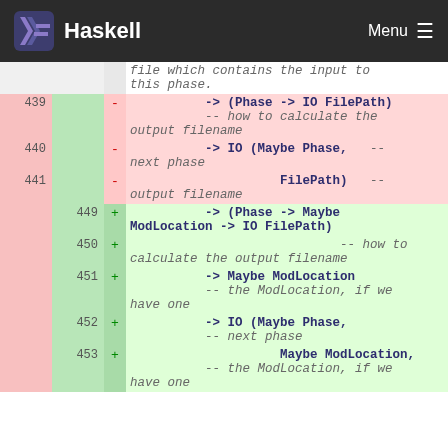Haskell — Menu
diff view showing Haskell source code changes around lines 439-453
| old-line | new-line | sign | code |
| --- | --- | --- | --- |
|  |  |  | file which contains the input to this phase. |
| 439 |  | - | -> (Phase -> IO FilePath)  -- how to calculate the output filename |
| 440 |  | - | -> IO (Maybe Phase,   -- next phase |
| 441 |  | - | FilePath)   -- output filename |
|  | 449 | + | -> (Phase -> Maybe ModLocation -> IO FilePath) |
|  | 450 | + | -- how to calculate the output filename |
|  | 451 | + | -> Maybe ModLocation  -- the ModLocation, if we have one |
|  | 452 | + | -> IO (Maybe Phase,  -- next phase |
|  | 453 | + | Maybe ModLocation,  -- the ModLocation, if we have one |
|  |  |  | have one |